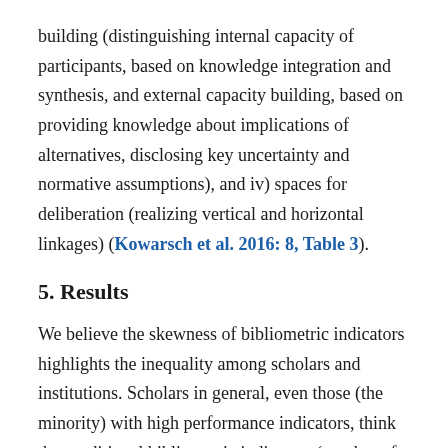building (distinguishing internal capacity of participants, based on knowledge integration and synthesis, and external capacity building, based on providing knowledge about implications of alternatives, disclosing key uncertainty and normative assumptions), and iv) spaces for deliberation (realizing vertical and horizontal linkages) (Kowarsch et al. 2016: 8, Table 3).
5. Results
We believe the skewness of bibliometric indicators highlights the inequality among scholars and institutions. Scholars in general, even those (the minority) with high performance indicators, think that traditional bibliometric indicators (number of papers